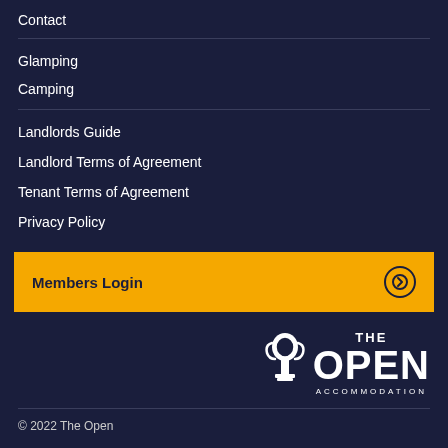Contact
Glamping
Camping
Landlords Guide
Landlord Terms of Agreement
Tenant Terms of Agreement
Privacy Policy
Members Login
[Figure (logo): The Open Accommodation logo with trophy icon, white text on dark navy background]
© 2022 The Open